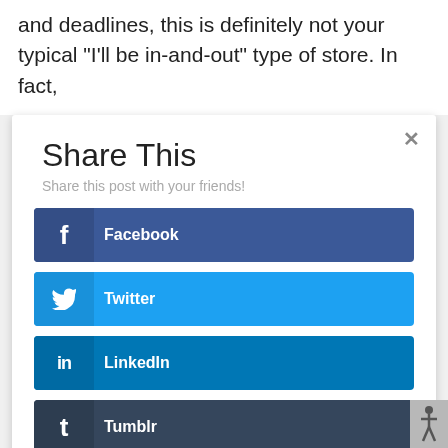and deadlines, this is definitely not your typical "I'll be in-and-out" type of store. In fact,
[Figure (screenshot): A share dialog modal with title 'Share This', subtitle 'Share this post with your friends!', and six social media share buttons: Facebook (blue), Twitter (light blue), LinkedIn (dark blue), Tumblr (dark navy), reddit (orange-red), Gmail (red). Each button has an icon on the left and the platform name in bold white text.]